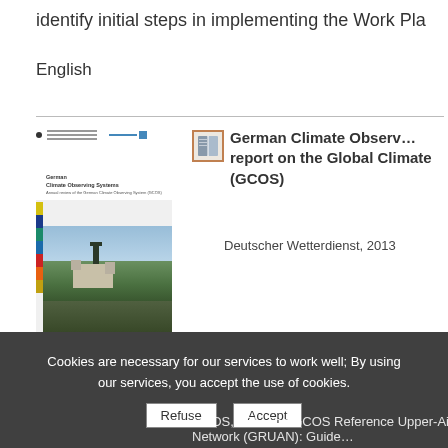identify initial steps in implementing the Work Pla…
English
[Figure (illustration): Thumbnail cover image of German Climate Observing Systems report with colored bars and landscape photo]
German Climate Observing Systems report on the Global Climate Observing System (GCOS)
Deutscher Wetterdienst, 2013
English
Cookies are necessary for our services to work well; By using our services, you accept the use of cookies.
Refuse
Accept
GCOS, 171. The GCOS Reference Upper-Air Network (GRUAN): Guide…